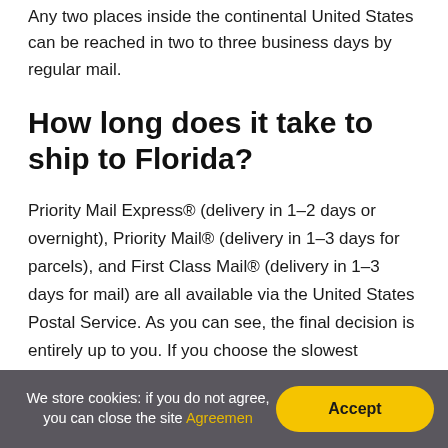Any two places inside the continental United States can be reached in two to three business days by regular mail.
How long does it take to ship to Florida?
Priority Mail Express® (delivery in 1–2 days or overnight), Priority Mail® (delivery in 1–3 days for parcels), and First Class Mail® (delivery in 1–3 days for mail) are all available via the United States Postal Service. As you can see, the final decision is entirely up to you. If you choose the slowest shipping option, you should anticipate your products to arrive after an estimated business week has
We store cookies: if you do not agree, you can close the site Agreement